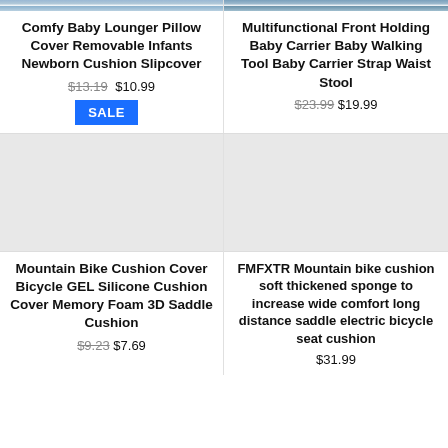[Figure (photo): Partial top of baby product image (cropped)]
Comfy Baby Lounger Pillow Cover Removable Infants Newborn Cushion Slipcover
$13.19 $10.99
SALE
[Figure (photo): Partial top of baby carrier product image (cropped)]
Multifunctional Front Holding Baby Carrier Baby Walking Tool Baby Carrier Strap Waist Stool
$23.99 $19.99
[Figure (photo): Mountain bike cushion product image placeholder]
Mountain Bike Cushion Cover Bicycle GEL Silicone Cushion Cover Memory Foam 3D Saddle Cushion
$9.23 $7.69
[Figure (photo): FMFXTR mountain bike cushion product image placeholder]
FMFXTR Mountain bike cushion soft thickened sponge to increase wide comfort long distance saddle electric bicycle seat cushion
$31.99